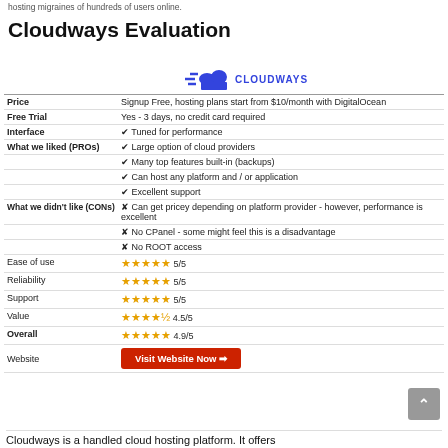hosting migraines of hundreds of users online.
Cloudways Evaluation
[Figure (logo): Cloudways logo: blue cloud with speed lines and CLOUDWAYS text in blue]
|  |  |
| --- | --- |
| Price | Signup Free, hosting plans start from $10/month with DigitalOcean |
| Free Trial | Yes - 3 days, no credit card required |
| Interface | ✔ Tuned for performance |
| What we liked (PROs) | ✔ Large option of cloud providers |
|  | ✔ Many top features built-in (backups) |
|  | ✔ Can host any platform and / or application |
|  | ✔ Excellent support |
| What we didn't like (CONs) | ✘ Can get pricey depending on platform provider - however, performance is excellent |
|  | ✘ No CPanel - some might feel this is a disadvantage |
|  | ✘ No ROOT access |
| Ease of use | ★★★★★ 5/5 |
| Reliability | ★★★★★ 5/5 |
| Support | ★★★★★ 5/5 |
| Value | ★★★★½ 4.5/5 |
| Overall | ★★★★★ 4.9/5 |
| Website | Visit Website Now → |
Cloudways is a handled cloud hosting platform. It offers